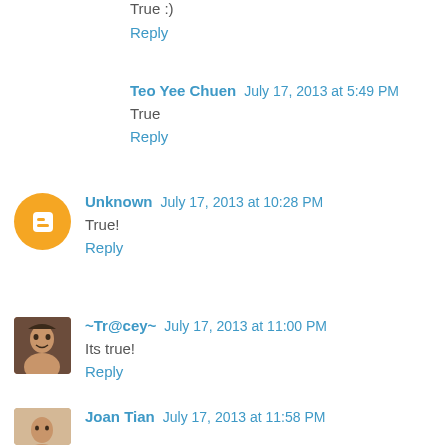True :)
Reply
Teo Yee Chuen  July 17, 2013 at 5:49 PM
True
Reply
Unknown  July 17, 2013 at 10:28 PM
True!
Reply
~Tr@cey~  July 17, 2013 at 11:00 PM
Its true!
Reply
Joan Tian  July 17, 2013 at 11:58 PM